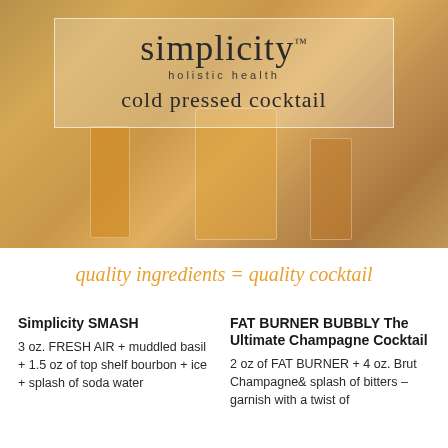[Figure (photo): Photo of cold pressed juice drinks and cocktail glasses on a bar counter with warm amber/orange tones, overlaid with a semi-transparent white box containing the Simplicity Holistic Health brand and 'cold pressed cocktail' text]
quality ingredients = quality cocktail
Simplicity SMASH
3 oz. FRESH AIR + muddled basil + 1.5 oz of top shelf bourbon + ice + splash of soda water
FAT BURNER BUBBLY The Ultimate Champagne Cocktail
2 oz of FAT BURNER + 4 oz. Brut Champagne& splash of bitters – garnish with a twist of